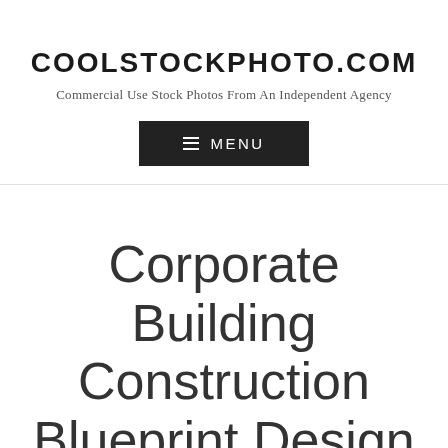COOLSTOCKPHOTO.COM
Commercial Use Stock Photos From An Independent Agency
[Figure (screenshot): Dark rectangular menu button with hamburger icon and text MENU]
Corporate Building Construction Blueprint Design